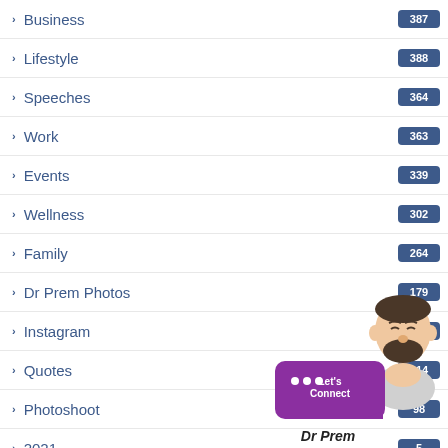Business 387
Lifestyle 388
Speeches 364
Work 363
Events 339
Wellness 302
Family 264
Dr Prem Photos 179
Instagram 176
Quotes 114
Photoshoot 98
2021 5
June 2021
Aug 2021 11
[Figure (illustration): Dr Prem avatar with chat bubble saying Let's Connect, and Dr Prem branding]